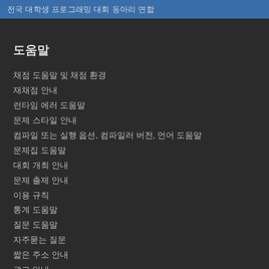전국 대학생 프로그래밍 대회 동아리 연합
도움말
채점 도움말 및 채점 환경
재채점 안내
런타임 에러 도움말
문제 스타일 안내
컴파일 또는 실행 옵션, 컴파일러 버전, 언어 도움말
문제집 도움말
대회 개최 안내
문제 출제 안내
이용 규칙
통계 도움말
질문 도움말
자주묻는 질문
짧은 주소 안내
광고 안내